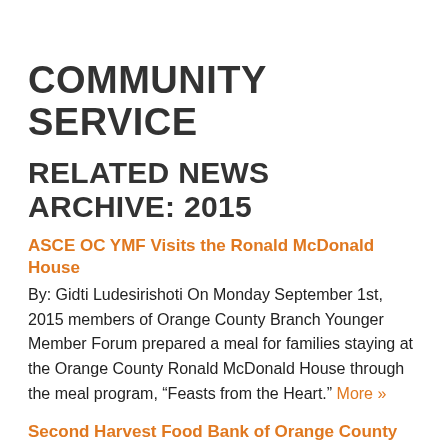COMMUNITY SERVICE
RELATED NEWS ARCHIVE: 2015
ASCE OC YMF Visits the Ronald McDonald House
By: Gidti Ludesirishoti On Monday September 1st, 2015 members of Orange County Branch Younger Member Forum prepared a meal for families staying at the Orange County Ronald McDonald House through the meal program, “Feasts from the Heart.” More »
Second Harvest Food Bank of Orange County
By: Gibson Phan On October 15, 2015 ASCE OC YMF